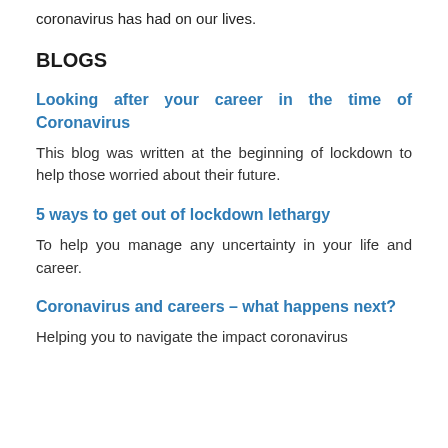coronavirus has had on our lives.
BLOGS
Looking after your career in the time of Coronavirus
This blog was written at the beginning of lockdown to help those worried about their future.
5 ways to get out of lockdown lethargy
To help you manage any uncertainty in your life and career.
Coronavirus and careers – what happens next?
Helping you to navigate the impact coronavirus